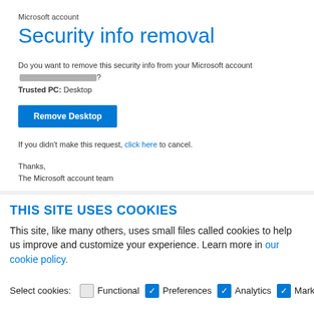Microsoft account
Security info removal
Do you want to remove this security info from your Microsoft account [redacted]?
Trusted PC: Desktop
Remove Desktop
If you didn't make this request, click here to cancel.
Thanks,
The Microsoft account team
THIS SITE USES COOKIES
This site, like many others, uses small files called cookies to help us improve and customize your experience. Learn more in our cookie policy.
Select cookies: Functional (unchecked), Preferences (checked), Analytics (checked), Marketing (checked)